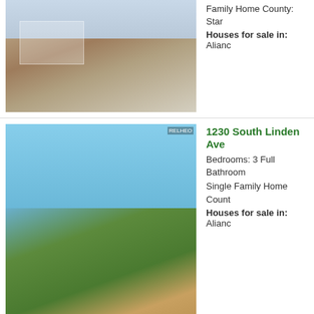[Figure (photo): Interior kitchen photo showing wooden cabinets and a window]
Family Home County: Stark
Houses for sale in: Allianc
[Figure (photo): Exterior photo of a two-story craftsman-style house surrounded by trees, blue sky background. Watermark visible.]
1230 South Linden Ave
Bedrooms: 3 Full Bathroom
Single Family Home Count
Houses for sale in: Alianc
[Figure (photo): Exterior photo of a two-story residential home with white siding, surrounded by trees]
745 West Grant St Allia
Bedrooms: 2 Full Bathroom
Single Family Home Count
Houses for sale in: Allianc